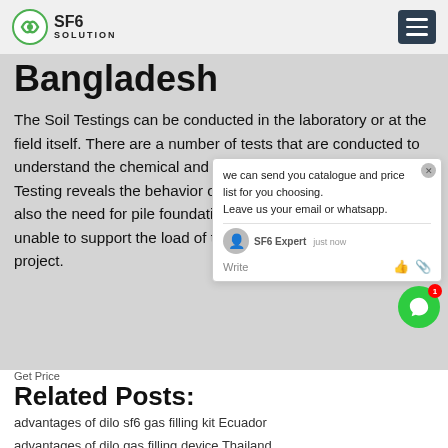SF6 SOLUTION
Bangladesh
The Soil Testings can be conducted in the laboratory or at the field itself. There are a number of tests that are conducted to understand the chemical and physical properties of soil. Soil Testing reveals the behavior of soil in different seasons and also the need for pile foundation when the upper layer is unable to support the load of the proposed construction project.
Get Price
Related Posts:
advantages of dilo sf6 gas filling kit Ecuador
advantages of dilo gas filling device Thailand
750kv 132kv sf6 circuit breaker Sweden
oem sf6 schneider Indonesia